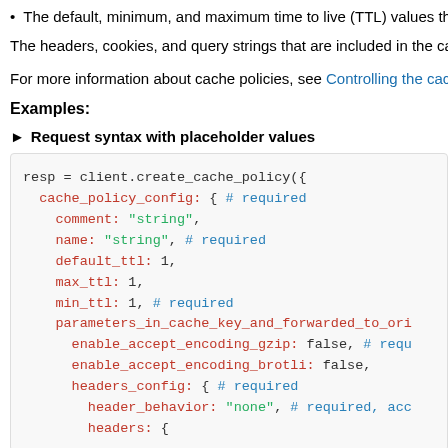The default, minimum, and maximum time to live (TTL) values th
The headers, cookies, and query strings that are included in the cac
For more information about cache policies, see Controlling the cach
Examples:
▶ Request syntax with placeholder values
[Figure (screenshot): Code block showing Python resp = client.create_cache_policy({ with syntax-highlighted fields including cache_policy_config, comment, name, default_ttl, max_ttl, min_ttl, parameters_in_cache_key_and_forwarded_to_ori, enable_accept_encoding_gzip, enable_accept_encoding_brotli, headers_config, header_behavior, headers]